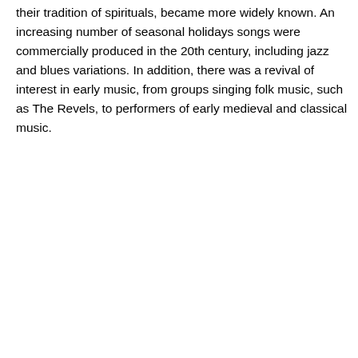their tradition of spirituals, became more widely known. An increasing number of seasonal holidays songs were commercially produced in the 20th century, including jazz and blues variations. In addition, there was a revival of interest in early music, from groups singing folk music, such as The Revels, to performers of early medieval and classical music.